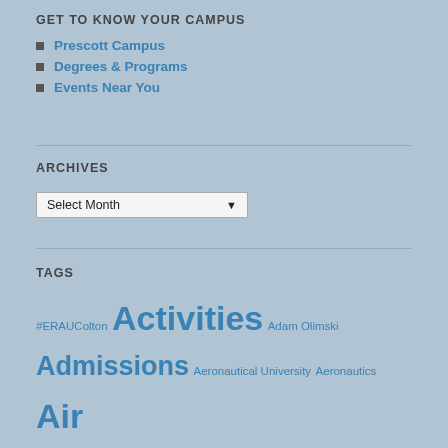GET TO KNOW YOUR CAMPUS
Prescott Campus
Degrees & Programs
Events Near You
ARCHIVES
Select Month
TAGS
#ERAUColton Activities Adam Olimski Admissions Aeronautical University Aeronautics Air Force ROTC Arizona Az Blog Chelsea